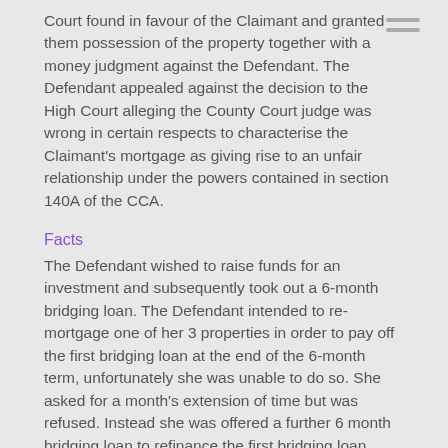Court found in favour of the Claimant and granted them possession of the property together with a money judgment against the Defendant. The Defendant appealed against the decision to the High Court alleging the County Court judge was wrong in certain respects to characterise the Claimant's mortgage as giving rise to an unfair relationship under the powers contained in section 140A of the CCA.
Facts
The Defendant wished to raise funds for an investment and subsequently took out a 6-month bridging loan. The Defendant intended to re-mortgage one of her 3 properties in order to pay off the first bridging loan at the end of the 6-month term, unfortunately she was unable to do so. She asked for a month's extension of time but was refused. Instead she was offered a further 6 month bridging loan to refinance the first bridging loan.